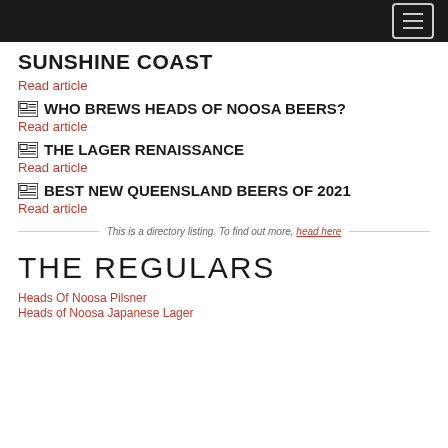SUNSHINE COAST
Read article
WHO BREWS HEADS OF NOOSA BEERS?
Read article
THE LAGER RENAISSANCE
Read article
BEST NEW QUEENSLAND BEERS OF 2021
Read article
This is a directory listing. To find out more, head here
THE REGULARS
Heads Of Noosa Pilsner
Heads of Noosa Japanese Lager